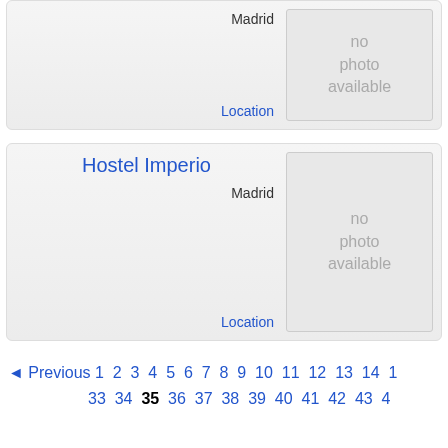Madrid
[Figure (other): no photo available placeholder box]
Location
Hostel Imperio
Madrid
[Figure (other): no photo available placeholder box]
Location
◄ Previous  1  2  3  4  5  6  7  8  9  10  11  12  13  14  1  33  34  35  36  37  38  39  40  41  42  43  4